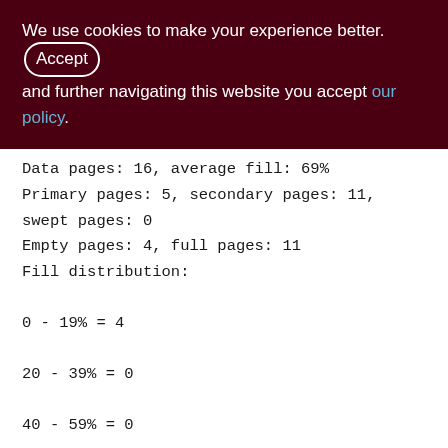We use cookies to make your experience better. By accepting and further navigating this website you accept our policy.
Data pages: 16, average fill: 69%
Primary pages: 5, secondary pages: 11, swept pages: 0
Empty pages: 4, full pages: 11
Fill distribution:
0 - 19% = 4
20 - 39% = 0
40 - 59% = 0
60 - 79% = 0
80 - 99% = 12

Index PK_SEMAPHORES (0)
[Figure (other): Scroll-to-top button: grey rounded square with a white upward chevron arrow]